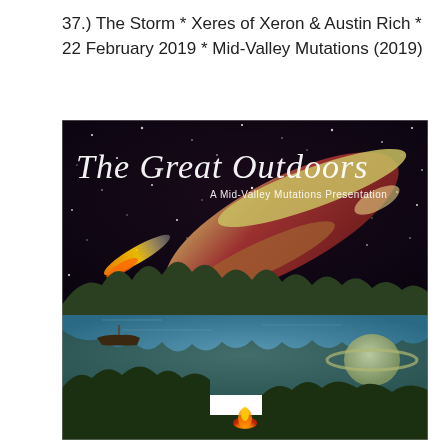37.) The Storm * Xeres of Xeron & Austin Rich * 22 February 2019 * Mid-Valley Mutations (2019)
[Figure (illustration): Album or event artwork titled 'The Great Outdoors — A Mid-Valley Mutations Presentation'. The image is a surreal collage showing a retro-style rocket ship flying through a starry night sky in the upper half, and a tranquil lake scene with trees, a small boat, and a campfire in the lower half. A ringed planet (Saturn-like) is visible on the right side.]